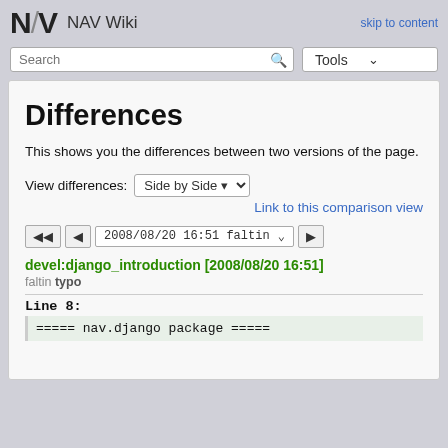NAV Wiki   skip to content
Search   Tools
Differences
This shows you the differences between two versions of the page.
View differences:  Side by Side ▾
Link to this comparison view
◄◄  ◄  2008/08/20 16:51 faltin ▾  ►
devel:django_introduction [2008/08/20 16:51]
faltin typo
Line 8:
===== nav.django package =====